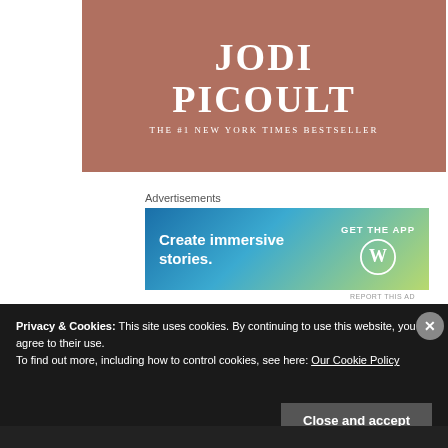[Figure (illustration): Book cover banner with author name JODI PICOULT on brown/terracotta background with subtitle THE #1 NEW YORK TIMES BESTSELLER in white serif font]
Advertisements
[Figure (illustration): Advertisement banner with blue-to-yellow-green gradient: 'Create immersive stories.' on the left, 'GET THE APP' with WordPress logo circle on the right]
REPORT THIS AD
Privacy & Cookies: This site uses cookies. By continuing to use this website, you agree to their use.
To find out more, including how to control cookies, see here: Our Cookie Policy
Close and accept